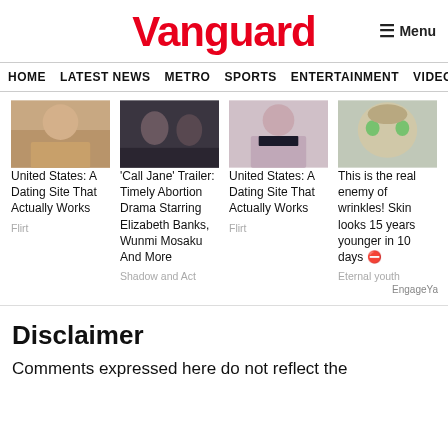Vanguard
Menu
HOME  LATEST NEWS  METRO  SPORTS  ENTERTAINMENT  VIDEOS
[Figure (photo): Article thumbnail: woman on couch]
United States: A Dating Site That Actually Works
Flirt
[Figure (photo): Article thumbnail: Call Jane movie still]
'Call Jane' Trailer: Timely Abortion Drama Starring Elizabeth Banks, Wunmi Mosaku And More
Shadow and Act
[Figure (photo): Article thumbnail: woman in black top]
United States: A Dating Site That Actually Works
Flirt
[Figure (photo): Article thumbnail: close up of face with green eyes]
This is the real enemy of wrinkles! Skin looks 15 years younger in 10 days ⛔
Eternal youth
EngageYa
Disclaimer
Comments expressed here do not reflect the